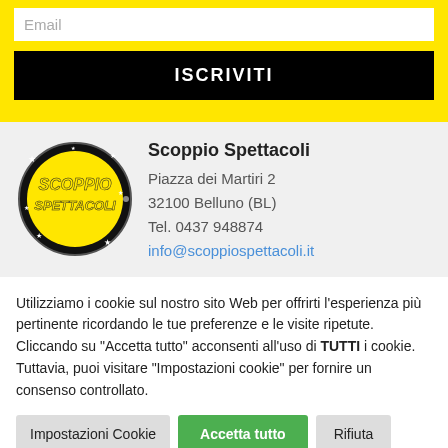Email
ISCRIVITI
[Figure (logo): Scoppio Spettacoli circular logo with yellow text on dark background]
Scoppio Spettacoli
Piazza dei Martiri 2
32100 Belluno (BL)
Tel. 0437 948874
info@scoppiospettacoli.it
Utilizziamo i cookie sul nostro sito Web per offrirti l'esperienza più pertinente ricordando le tue preferenze e le visite ripetute. Cliccando su "Accetta tutto" acconsenti all'uso di TUTTI i cookie. Tuttavia, puoi visitare "Impostazioni cookie" per fornire un consenso controllato.
Impostazioni Cookie
Accetta tutto
Rifiuta